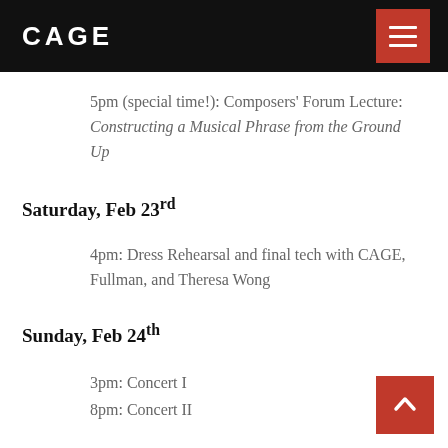CAGE
5pm (special time!): Composers' Forum Lecture: Constructing a Musical Phrase from the Ground Up
Saturday, Feb 23rd
4pm: Dress Rehearsal and final tech with CAGE, Fullman, and Theresa Wong
Sunday, Feb 24th
3pm: Concert I
8pm: Concert II